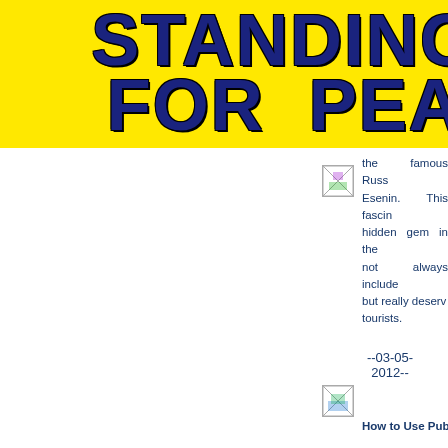[Figure (logo): Yellow banner with bold dark blue cracked/lightning text reading STANDING FOR PEA (cut off on right)]
[Figure (photo): Small thumbnail image placeholder (broken image icon)]
the famous Russian poet Esenin. This fascinating hidden gem in the city is not always included in tours but really deserves visits from tourists.
--03-05-2012--
How to Use Public Trans...
[Figure (photo): Small thumbnail image placeholder (broken image icon)]
Imagine, that with preparation you have Moscow. It is esse transport system of some tips for travele...